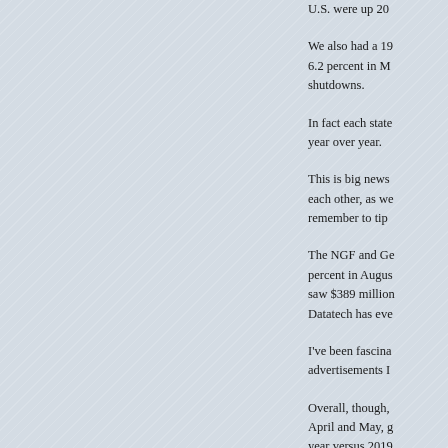[Figure (other): Large light blue-grey textured background image occupying the left portion of the page]
U.S. were up 20
We also had a 19 6.2 percent in M shutdowns.
In fact each state year over year.
This is big news each other, as we remember to tip
The NGF and Ge percent in Augus saw $389 million Datatech has eve
I've been fascina advertisements I
Overall, though, April and May, g year versus 2019
NASCAR